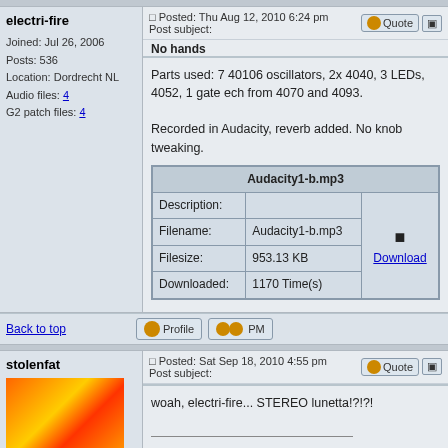electri-fire
Posted: Thu Aug 12, 2010 6:24 pm   Post subject: No hands
Joined: Jul 26, 2006
Posts: 536
Location: Dordrecht NL
Audio files: 4
G2 patch files: 4
Parts used: 7 40106 oscillators, 2x 4040, 3 LEDs, 4052, 1 gate ech from 4070 and 4093.

Recorded in Audacity, reverb added. No knob tweaking.
| Audacity1-b.mp3 |  |  |
| --- | --- | --- |
| Description: |  |  |
| Filename: | Audacity1-b.mp3 | Download |
| Filesize: | 953.13 KB |  |
| Downloaded: | 1170 Time(s) |  |
Back to top
Profile   PM
stolenfat
Posted: Sat Sep 18, 2010 4:55 pm   Post subject:
woah, electri-fire... STEREO lunetta!?!?!

home made noise and electronic ill-logic